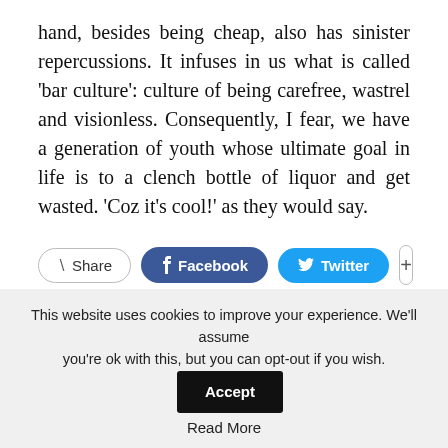hand, besides being cheap, also has sinister repercussions. It infuses in us what is called ‘bar culture’: culture of being carefree, wastrel and visionless. Consequently, I fear, we have a generation of youth whose ultimate goal in life is to a clench bottle of liquor and get wasted. ‘Coz it’s cool!’ as they would say.
[Figure (other): Social share buttons row: Share button, Facebook button, Twitter button, plus button]
← PREV POST
NEXT POST →
This website uses cookies to improve your experience. We’ll assume you’re ok with this, but you can opt-out if you wish. Accept
Read More